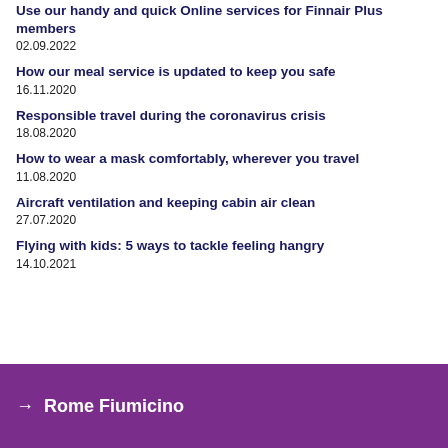Use our handy and quick Online services for Finnair Plus members
02.09.2022
How our meal service is updated to keep you safe
16.11.2020
Responsible travel during the coronavirus crisis
18.08.2020
How to wear a mask comfortably, wherever you travel
11.08.2020
Aircraft ventilation and keeping cabin air clean
27.07.2020
Flying with kids: 5 ways to tackle feeling hangry
14.10.2021
→ Rome Fiumicino